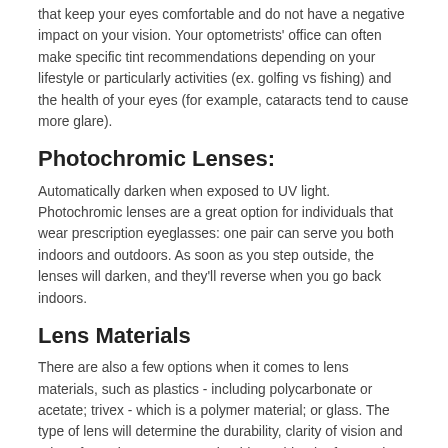that keep your eyes comfortable and do not have a negative impact on your vision. Your optometrists' office can often make specific tint recommendations depending on your lifestyle or particularly activities (ex. golfing vs fishing) and the health of your eyes (for example, cataracts tend to cause more glare).
Photochromic Lenses:
Automatically darken when exposed to UV light. Photochromic lenses are a great option for individuals that wear prescription eyeglasses: one pair can serve you both indoors and outdoors. As soon as you step outside, the lenses will darken, and they'll reverse when you go back indoors.
Lens Materials
There are also a few options when it comes to lens materials, such as plastics - including polycarbonate or acetate; trivex - which is a polymer material; or glass. The type of lens will determine the durability, clarity of vision and price of your lenses, so you should consider the factors that are most important for you and try out a few options to see how they feel.